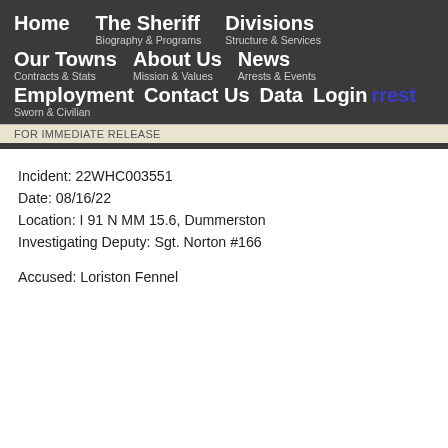Home   The Sheriff   Biography & Programs   Divisions   Structure & Services   Our Towns   Contracts & Stats   About Us   Mission & Values   News   Arrests & Events   Employment   Sworn & Civilian   Contact Us   Data   Login   Arrest
FOR IMMEDIATE RELEASE
Incident: 22WHC003551
Date: 08/16/22
Location: I 91 N MM 15.6, Dummerston
Investigating Deputy: Sgt. Norton #166
Accused: Loriston Fennel
Age: 25
City & State of Residence: Windsor, VT
Charges: Excessive Speed
Description: On 08/16/22 at approximately 1801 hours, Loristo he was operating was observed to be traveling 98 mph in the p Windham Superior Court, Criminal Division at a later date. He
Court Date: 09/27/22